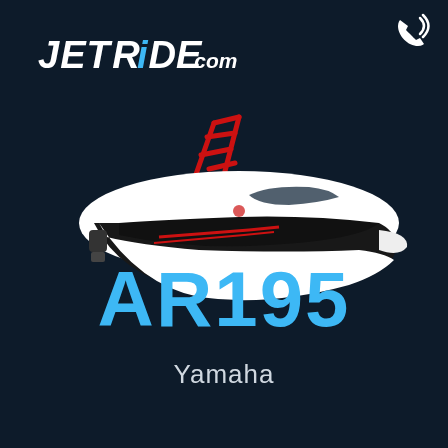JETRIDE.com
[Figure (logo): Phone/call icon in top right corner]
[Figure (photo): Yamaha AR195 jet boat, black and white hull with red wakeboard tower and red accent stripes, shown in side profile against dark background]
AR195
Yamaha